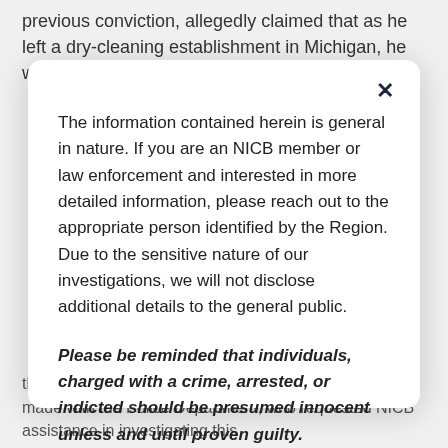previous conviction, allegedly claimed that as he left a dry-cleaning establishment in Michigan, he was the
The information contained herein is general in nature. If you are an NICB member or law enforcement and interested in more detailed information, please reach out to the appropriate person identified by the Region. Due to the sensitive nature of our investigations, we will not disclose additional details to the general public.
Please be reminded that individuals, charged with a crime, arrested, or indicted should be presumed innocent unless and until proven guilty.
CLOSE
that he was the victim of an armed robbery. Contact was made with the Police Department, who requested NICB assistance in investigating this